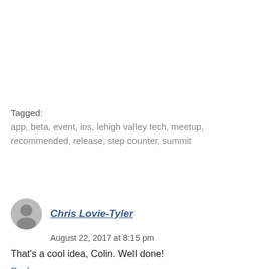Tagged: app, beta, event, ios, lehigh valley tech, meetup, recommended, release, step counter, summit
Chris Lovie-Tyler
August 22, 2017 at 8:15 pm
That's a cool idea, Colin. Well done!
Reply